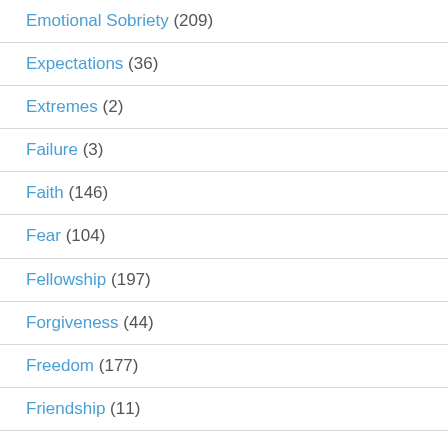Emotional Sobriety (209)
Expectations (36)
Extremes (2)
Failure (3)
Faith (146)
Fear (104)
Fellowship (197)
Forgiveness (44)
Freedom (177)
Friendship (11)